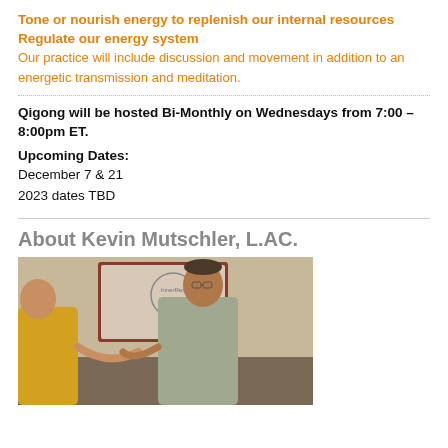Tone or nourish energy to replenish our internal resources
Regulate our energy system
Our practice will include discussion and movement in addition to an energetic transmission and meditation.
Qigong will be hosted Bi-Monthly on Wednesdays from 7:00 – 8:00pm ET.
Upcoming Dates:
December 7 & 21
2023 dates TBD
About Kevin Mutschler, L.AC.
[Figure (photo): Photo of Kevin Mutschler and another person, appearing to demonstrate or interact in a room with a whiteboard in the background.]